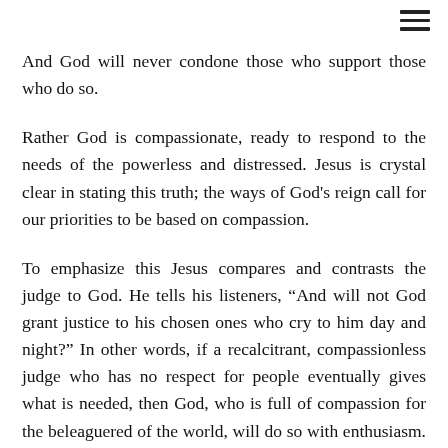And God will never condone those who support those who do so.
Rather God is compassionate, ready to respond to the needs of the powerless and distressed. Jesus is crystal clear in stating this truth; the ways of God's reign call for our priorities to be based on compassion.
To emphasize this Jesus compares and contrasts the judge to God. He tells his listeners, “And will not God grant justice to his chosen ones who cry to him day and night?” In other words, if a recalcitrant, compassionless judge who has no respect for people eventually gives what is needed, then God, who is full of compassion for the beleaguered of the world, will do so with enthusiasm. God doesn’t need to be badgered